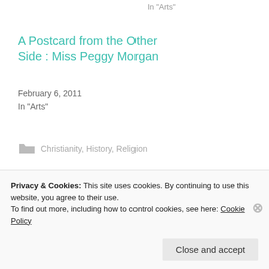In "Arts"
A Postcard from the Other Side : Miss Peggy Morgan
February 6, 2011
In "Arts"
Christianity, History, Religion
CROESLAN
LIVERPOOL
MOURNING
NESTA HUGHES
POSTCARDS
SEAFORTH
Privacy & Cookies: This site uses cookies. By continuing to use this website, you agree to their use.
To find out more, including how to control cookies, see here: Cookie Policy
Close and accept